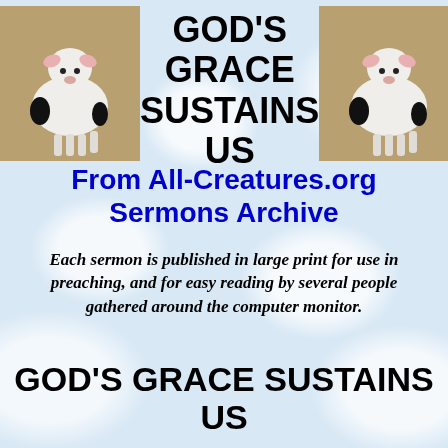[Figure (photo): White lamb standing, facing forward, left image]
GOD'S GRACE SUSTAINS US
[Figure (photo): White lamb standing, facing forward, right image]
From All-Creatures.org Sermons Archive
Each sermon is published in large print for use in preaching, and for easy reading by several people gathered around the computer monitor.
GOD'S GRACE SUSTAINS US